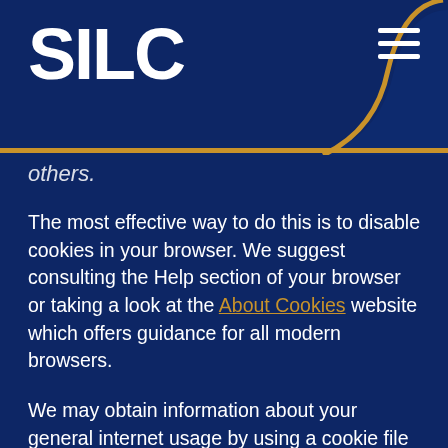SILC
others.
The most effective way to do this is to disable cookies in your browser. We suggest consulting the Help section of your browser or taking a look at the About Cookies website which offers guidance for all modern browsers.
We may obtain information about your general internet usage by using a cookie file which is stored on your browser or the hard drive of your computer. Cookies contain information that is transferred to your computer's hard drive. They help us to improve our site and to deliver a better